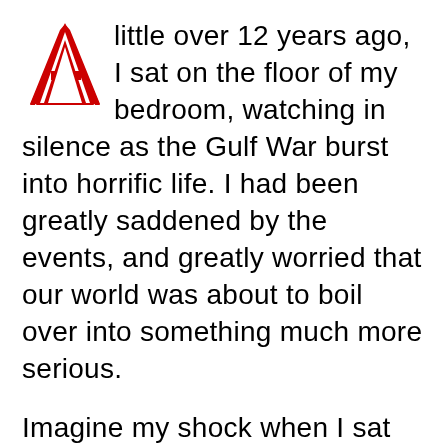A little over 12 years ago, I sat on the floor of my bedroom, watching in silence as the Gulf War burst into horrific life. I had been greatly saddened by the events, and greatly worried that our world was about to boil over into something much more serious.

Imagine my shock when I sat down to watch a little television tonight. At 19:45 MST, the White House spokesman stepped onto the podium, saying that